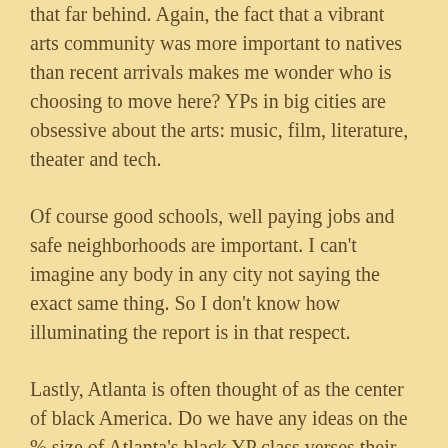that far behind. Again, the fact that a vibrant arts community was more important to natives than recent arrivals makes me wonder who is choosing to move here? YPs in big cities are obsessive about the arts: music, film, literature, theater and tech.
Of course good schools, well paying jobs and safe neighborhoods are important. I can't imagine any body in any city not saying the exact same thing. So I don't know how illuminating the report is in that respect.
Lastly, Atlanta is often thought of as the center of black America. Do we have any ideas on the % size of Atlanta's black YP class verses their white YP class? I would assume it is larger as an overall percentage. Are there any lessons we can learn from Atlanta to help